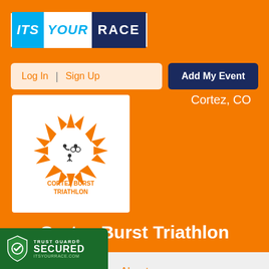[Figure (logo): ITS YOUR RACE logo with blue, white and dark navy sections]
Log In  |  Sign Up
Add My Event
Cortez, CO
[Figure (logo): Cortez Burst Triathlon logo with sun burst and triathlon figures, text reads CORTEZ BURST TRIATHLON]
Cortez Burst Triathlon
About
Participants
Teams
Results
[Figure (logo): Trust Guard SECURED badge in green with shield icon and ITSYOURRACE.COM text]